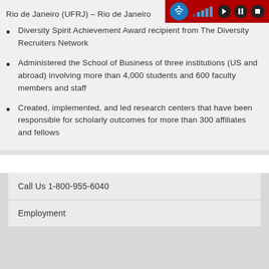Rio de Janeiro (UFRJ) – Rio de Janeiro
Diversity Spirit Achievement Award recipient from The Diversity Recruiters Network
Administered the School of Business of three institutions (US and abroad) involving more than 4,000 students and 600 faculty members and staff
Created, implemented, and led research centers that have been responsible for scholarly outcomes for more than 300 affiliates and fellows
Call Us 1-800-955-6040
Employment